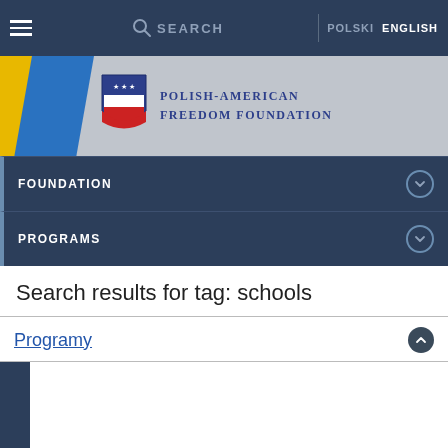SEARCH | POLSKI | ENGLISH
[Figure (logo): Polish-American Freedom Foundation logo with shield and organization name]
FOUNDATION
PROGRAMS
Search results for tag: schools
Programy